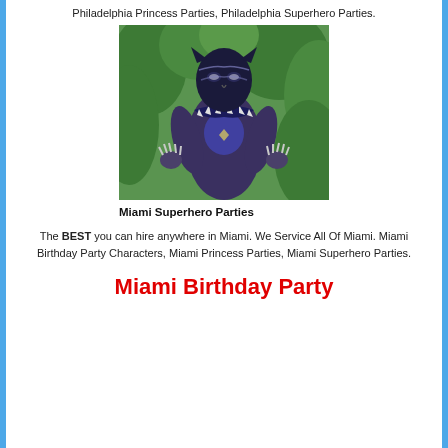Philadelphia Princess Parties, Philadelphia Superhero Parties.
[Figure (photo): Person dressed in Black Panther superhero costume standing in front of green trees/bushes, posing with hands raised and claws out.]
Miami Superhero Parties
The BEST you can hire anywhere in Miami. We Service All Of Miami. Miami Birthday Party Characters, Miami Princess Parties, Miami Superhero Parties.
Miami Birthday Party